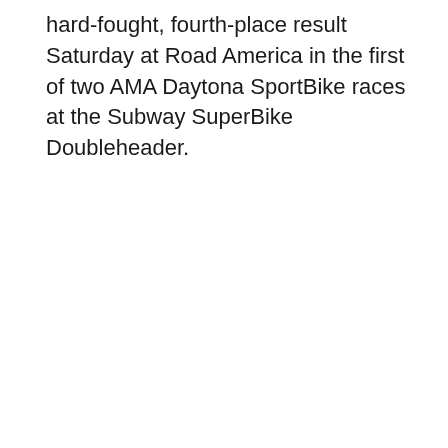hard-fought, fourth-place result Saturday at Road America in the first of two AMA Daytona SportBike races at the Subway SuperBike Doubleheader.
[Figure (screenshot): Media player control bar with teal background showing speed (1x), rewind 10s, play, forward 30s, share, notification bell, and fullscreen buttons. A progress bar with a dot indicator sits above the controls.]